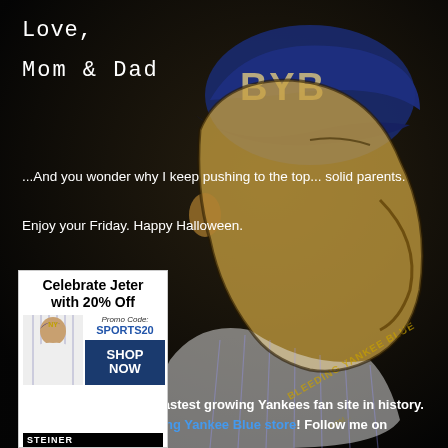[Figure (illustration): Dark background with a cartoon/illustration of a Yankees baseball player wearing a cap with 'BYB' on it, drawn in a vintage style. The jersey reads 'BLEEDING YANKEE BLUE' along the side. The figure is shown in profile facing right.]
Love,
Mom & Dad
...And you wonder why I keep pushing to the top... solid parents.
Enjoy your Friday. Happy Halloween.
[Figure (other): Advertisement for Steiner Sports: 'Celebrate Jeter with 20% Off' showing a photo of Derek Jeter in Yankees pinstripes, Promo Code: SPORTS20, with a SHOP NOW button.]
You've made BYB the fastest growing Yankees fan site in history. Now shop at the Bleeding Yankee Blue store!  Follow me on